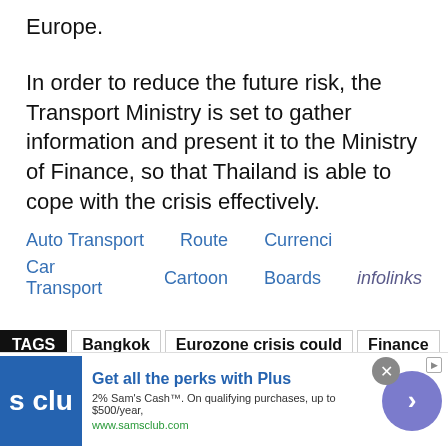Europe.
In order to reduce the future risk, the Transport Ministry is set to gather information and present it to the Ministry of Finance, so that Thailand is able to cope with the crisis effectively.
Auto Transport   Route   Currenci
Car Transport   Cartoon   Boards   infolinks
TAGS   Bangkok   Eurozone crisis could   Finance
Nonetheless   Permanent Secretary
[Figure (screenshot): Advertisement for Sam's Club Plus membership showing blue logo, headline 'Get all the perks with Plus', subtext '2% Sam's Cash™. On qualifying purchases, up to $500/year,', URL 'www.samsclub.com', with a purple arrow circle button and close button.]